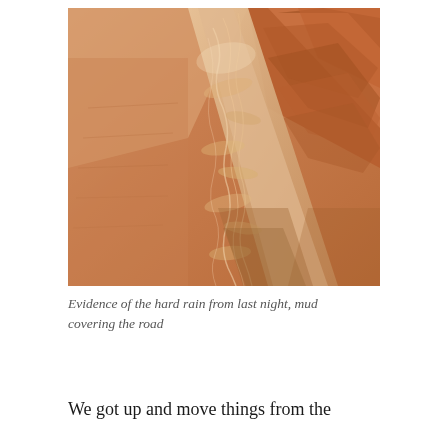[Figure (photo): Aerial or close-up photograph of a sandy desert road covered in mud and shallow water channels after heavy rain. The mud forms swirling, flowing patterns across the reddish-brown sandy surface. Rocky terrain visible in the upper right corner.]
Evidence of the hard rain from last night, mud covering the road
We got up and move things from the